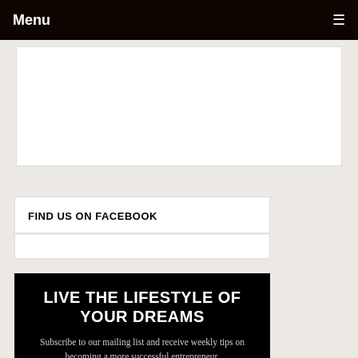Menu ≡
[Figure (other): White box placeholder area (advertisement or image area)]
FIND US ON FACEBOOK
[Figure (other): Facebook widget embed area]
LIVE THE LIFESTYLE OF YOUR DREAMS
Subscribe to our mailing list and receive weekly tips on becoming a more successful entrepreneur.